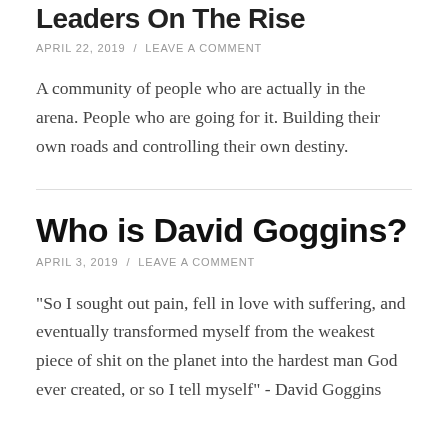Leaders On The Rise
APRIL 22, 2019 / LEAVE A COMMENT
A community of people who are actually in the arena. People who are going for it. Building their own roads and controlling their own destiny.
Who is David Goggins?
APRIL 3, 2019 / LEAVE A COMMENT
"So I sought out pain, fell in love with suffering, and eventually transformed myself from the weakest piece of shit on the planet into the hardest man God ever created, or so I tell myself" - David Goggins